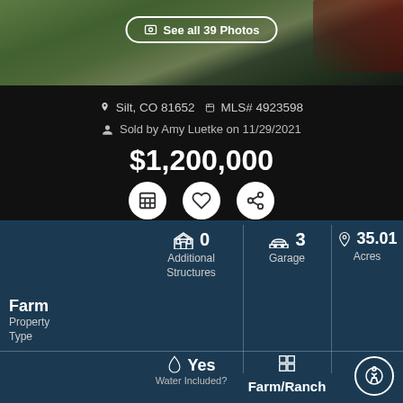[Figure (screenshot): Real estate listing screenshot showing a farm property photo at top (lawn and driveway), with 'See all 39 Photos' button overlay. Property details: $1,200,000, Silt CO 81652, MLS# 4923598, Sold by Amy Luetke on 11/29/2021. Action icons (calculator, heart, share). Dark teal property details grid: 0 Additional Structures, 3 Garage, 35.01 Acres, Farm Property Type, Yes Water Included, Farm/Ranch type.]